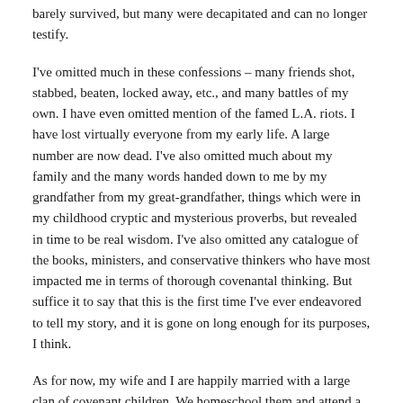barely survived, but many were decapitated and can no longer testify.
I've omitted much in these confessions – many friends shot, stabbed, beaten, locked away, etc., and many battles of my own. I have even omitted mention of the famed L.A. riots. I have lost virtually everyone from my early life. A large number are now dead. I've also omitted much about my family and the many words handed down to me by my grandfather from my great-grandfather, things which were in my childhood cryptic and mysterious proverbs, but revealed in time to be real wisdom. I've also omitted any catalogue of the books, ministers, and conservative thinkers who have most impacted me in terms of thorough covenantal thinking. But suffice it to say that this is the first time I've ever endeavored to tell my story, and it is gone on long enough for its purposes, I think.
As for now, my wife and I are happily married with a large clan of covenant children. We homeschool them and attend a little but growing home church of like-minded Christian septs in the mountains of North Idaho. Though my children are blessedly sheltered from the horrors of my youth, they are being raised with a deep love of faith and folk. In them God has preserved a remnant. As the multicult Liberal fantasies collapse, the children of the faithful lines of our tribes shall rise without shame to rebuild what was lost to us and our fathers. If the lawful magistrate is no more, and the institutional church is shattered, the family under God remains and interposes for the other two offices. From